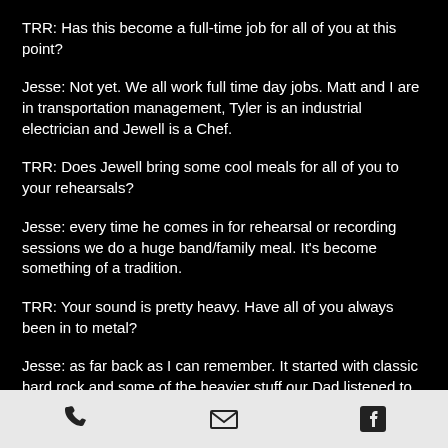TRR:  Has this become a full-time job for all of you at this point?
Jesse:  Not yet.  We all work full time day jobs. Matt and I are in transportation management, Tyler is an industrial electrician and Jewell is a Chef.
TRR:  Does Jewell bring some cool meals for all of you to your rehearsals?
Jesse: every time he comes in for rehearsal or recording sessions we do a huge band/family meal. It's become something of a tradition.
TRR:  Your sound is pretty heavy.  Have all of you always been in to metal?
Jesse: as far back as I can remember. It started with classic hard rock and some of the heavier stuff our Dad listened to, but we were hooked. Constantly on the hunt
phone | email | facebook